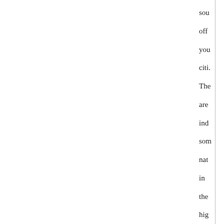sou off you citi. The are ind som nat in the hig EF cat wit 90- 100 tax rat An wh we on tha top